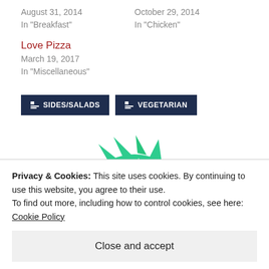August 31, 2014
In "Breakfast"
October 29, 2014
In "Chicken"
Love Pizza
March 19, 2017
In "Miscellaneous"
SIDES/SALADS
VEGETARIAN
[Figure (logo): Green stylized dragon/creature logo]
Privacy & Cookies: This site uses cookies. By continuing to use this website, you agree to their use.
To find out more, including how to control cookies, see here: Cookie Policy
Close and accept